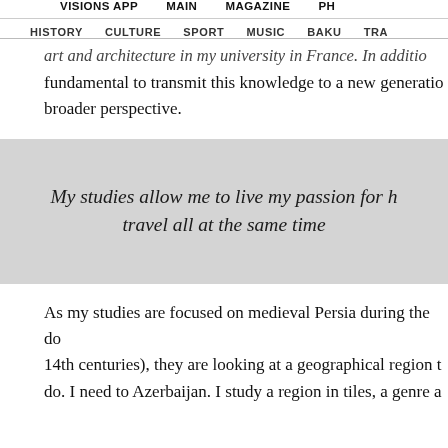VISIONS APP   MAIN   MAGAZINE   PH
HISTORY   CULTURE   SPORT   MUSIC   BAKU   TRA
art and architecture in my university in France. In addition, fundamental to transmit this knowledge to a new generation broader perspective.
My studies allow me to live my passion for h... travel all at the same time
As my studies are focused on medieval Persia during the do... 14th centuries), they are looking at a geographical region t... do. I need to Azerbaijan. I study a region in tiles, a genre and...